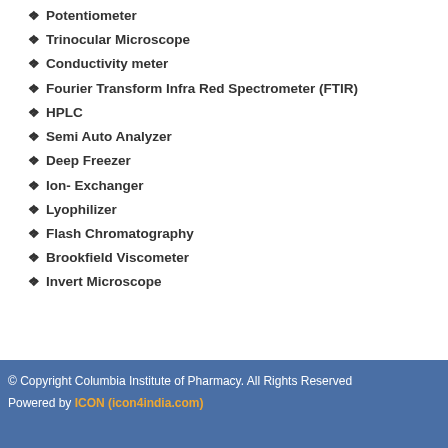Potentiometer
Trinocular Microscope
Conductivity meter
Fourier Transform Infra Red Spectrometer (FTIR)
HPLC
Semi Auto Analyzer
Deep Freezer
Ion- Exchanger
Lyophilizer
Flash Chromatography
Brookfield Viscometer
Invert Microscope
© Copyright Columbia Institute of Pharmacy. All Rights Reserved
Powered by ICON (icon4india.com)